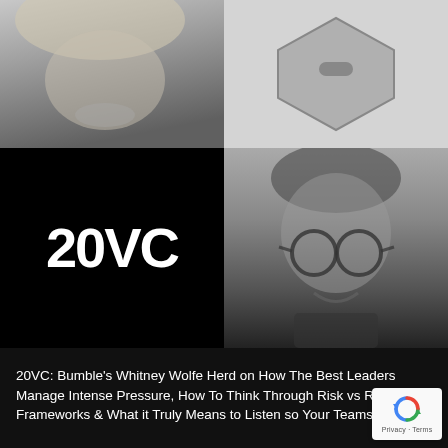[Figure (photo): Black and white photo of a woman (Whitney Wolfe Herd), cropped showing lower face and hair, top-left quadrant]
[Figure (logo): Light gray background with a dark hexagonal/shield shaped logo, top-right quadrant]
[Figure (logo): Black background with white bold text '20VC' logo, middle-left quadrant]
[Figure (photo): Black and white photo of a man with glasses (Harry Stebbings / 20VC host), smiling, middle-right quadrant]
20VC: Bumble's Whitney Wolfe Herd on How The Best Leaders Manage Intense Pressure, How To Think Through Risk vs Reward Frameworks & What it Truly Means to Listen so Your Teams Will Talk